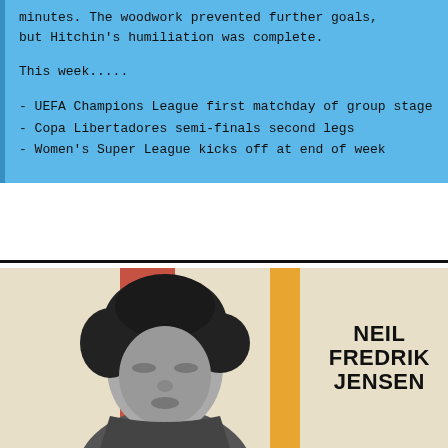minutes. The woodwork prevented further goals, but Hitchin's humiliation was complete.
This week.....
- UEFA Champions League first matchday of group stage
- Copa Libertadores semi-finals second legs
- Women's Super League kicks off at end of week
[Figure (photo): Black and white portrait photo of Neil Fredrik Jensen with colored vertical stripes (red and yellow) in the background on a cream/beige background. Bold text reads NEIL FREDRIK JENSEN on the right side.]